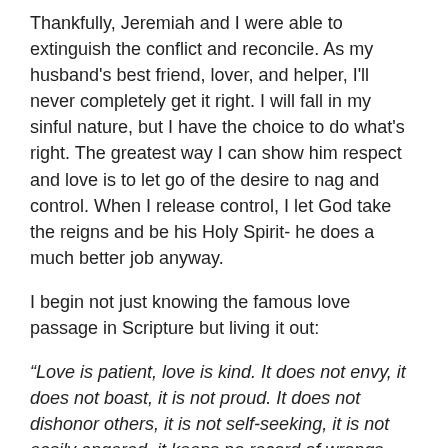Thankfully, Jeremiah and I were able to extinguish the conflict and reconcile. As my husband's best friend, lover, and helper, I'll never completely get it right. I will fall in my sinful nature, but I have the choice to do what's right. The greatest way I can show him respect and love is to let go of the desire to nag and control. When I release control, I let God take the reigns and be his Holy Spirit- he does a much better job anyway.
I begin not just knowing the famous love passage in Scripture but living it out:
“Love is patient, love is kind. It does not envy, it does not boast, it is not proud. It does not dishonor others, it is not self-seeking, it is not easily angered, it keeps no record of wrongs. Love does not delight in evil but rejoices with the truth. It always protects, always trusts, always hopes,